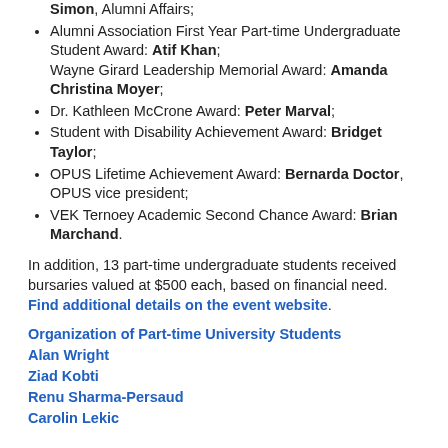Simon, Alumni Affairs;
Alumni Association First Year Part-time Undergraduate Student Award: Atif Khan; Wayne Girard Leadership Memorial Award: Amanda Christina Moyer;
Dr. Kathleen McCrone Award: Peter Marval;
Student with Disability Achievement Award: Bridget Taylor;
OPUS Lifetime Achievement Award: Bernarda Doctor, OPUS vice president;
VEK Ternoey Academic Second Chance Award: Brian Marchand.
In addition, 13 part-time undergraduate students received bursaries valued at $500 each, based on financial need. Find additional details on the event website.
Organization of Part-time University Students
Alan Wright
Ziad Kobti
Renu Sharma-Persaud
Carolin Lekic